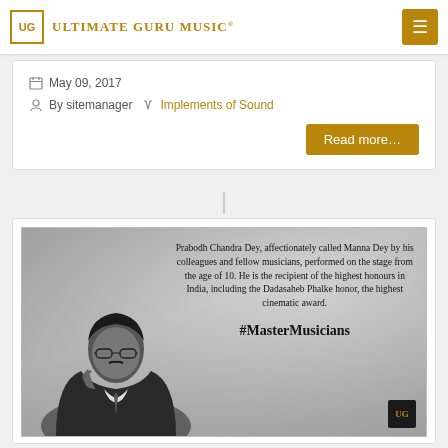Ultimate Guru Music
May 09, 2017
By sitemanager   Implements of Sound
Read more...
[Figure (photo): Black and white image of Prabodh Chandra Dey (Manna Dey) with text overlay: 'Prabodh Chandra Dey, affectionately called Manna Dey by his colleagues and fellow musicians, performed on the stage from the age of 10. He is the recipient of the highest honours in India, including the Dadasaheb Phalke honor, the highest cinematic award. #MasterMusicians']